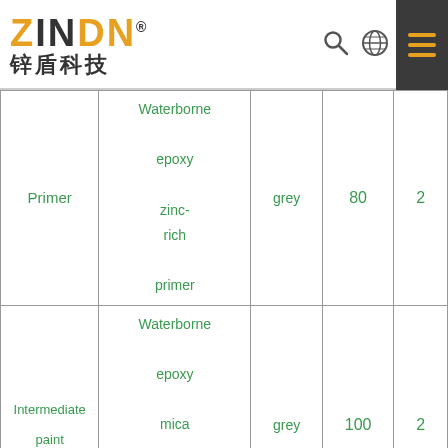ZINDN® 锌盾科技
|  |  |  |  |  |
| --- | --- | --- | --- | --- |
| Primer | Waterborne epoxy zinc-rich primer | grey | 80 | 2 |
| Intermediate paint | Waterborne epoxy mica intermediate paint | grey | 100 | 2 |